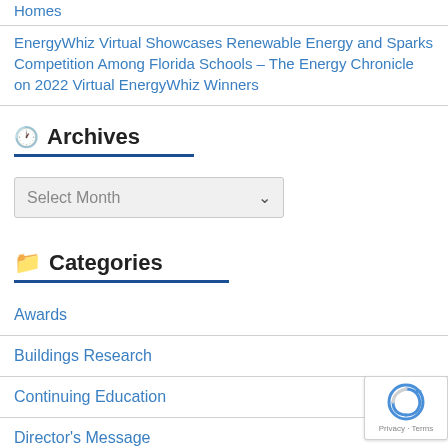Homes
EnergyWhiz Virtual Showcases Renewable Energy and Sparks Competition Among Florida Schools – The Energy Chronicle on 2022 Virtual EnergyWhiz Winners
Archives
Select Month
Categories
Awards
Buildings Research
Continuing Education
Director's Message